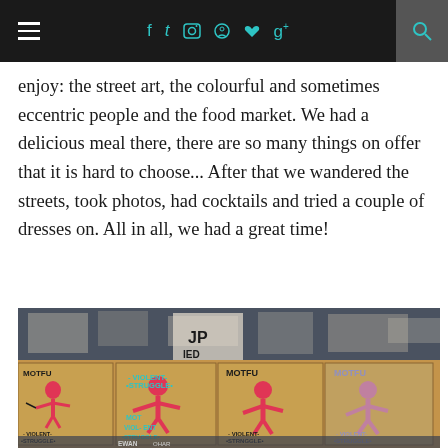Navigation bar with hamburger menu, social icons (Facebook, Twitter, Instagram, Pinterest, Heart, Google+), and search
enjoy: the street art, the colourful and sometimes eccentric people and the food market. We had a delicious meal there, there are so many things on offer that it is hard to choose... After that we wandered the streets, took photos, had cocktails and tried a couple of dresses on. All in all, we had a great time!
[Figure (photo): Street art photo showing multiple MOTFU 'Violent Struggle' paste-up posters on a wall covered with layers of torn posters and graffiti. Four cardboard-style posters visible showing a figure in red/pink with text 'MOTFU' and '-VIOLENT- •STRUGGLE•']